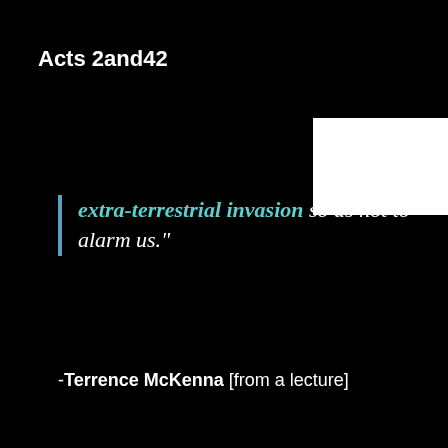Acts 2and42
...otic ...hing ...s an extra-terrestrial invasion so as not to alarm us."
-Terrence McKenna [from a lecture]
"One theory which can no longer be taken very seriously is that UFOs are interstellar spaceships."